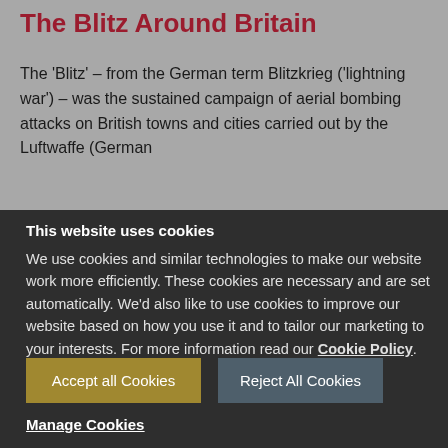The Blitz Around Britain
The 'Blitz' – from the German term Blitzkrieg ('lightning war') – was the sustained campaign of aerial bombing attacks on British towns and cities carried out by the Luftwaffe (German
This website uses cookies
We use cookies and similar technologies to make our website work more efficiently. These cookies are necessary and are set automatically. We'd also like to use cookies to improve our website based on how you use it and to tailor our marketing to your interests. For more information read our Cookie Policy.
Accept all Cookies
Reject All Cookies
Manage Cookies